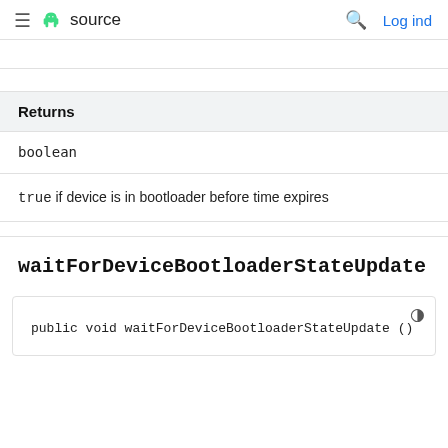≡  source   🔍  Log ind
| Returns |
| --- |
| boolean |
true if device is in bootloader before time expires
waitForDeviceBootloaderStateUpdate
public void waitForDeviceBootloaderStateUpdate ()